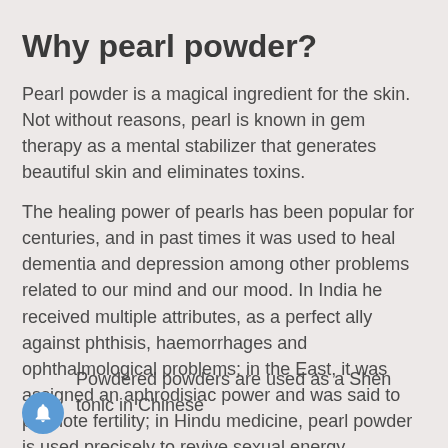Why pearl powder?
Pearl powder is a magical ingredient for the skin. Not without reasons, pearl is known in gem therapy as a mental stabilizer that generates beautiful skin and eliminates toxins.
The healing power of pearls has been popular for centuries, and in past times it was used to heal dementia and depression among other problems related to our mind and our mood. In India he received multiple attributes, as a perfect ally against phthisis, haemorrhages and ophthalmological problems; in the East, it was assigned an aphrodisiac power and was said to promote fertility; in Hindu medicine, pearl powder is used precisely to revive sexual energy.
Powdered powders are used as a Shen tonic in Chinese